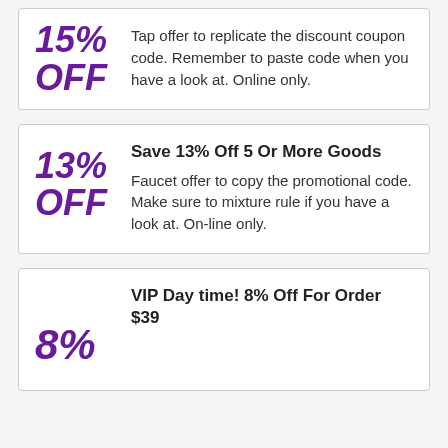15% OFF
Tap offer to replicate the discount coupon code. Remember to paste code when you have a look at. Online only.
13% OFF
Save 13% Off 5 Or More Goods
Faucet offer to copy the promotional code. Make sure to mixture rule if you have a look at. On-line only.
8%
VIP Day time! 8% Off For Order $39